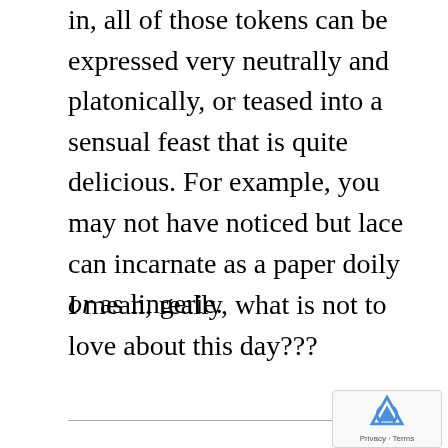in, all of those tokens can be expressed very neutrally and platonically, or teased into a sensual feast that is quite delicious. For example, you may not have noticed but lace can incarnate as a paper doily or as lingerie.
I mean, really, what is not to love about this day???
I was not afraid of celebrating Valentine's Day as a widow. I've loved this holiday when I was single, married, divorced, as a girl who didn't understand its romantic implications yet, as an adult woman deeply